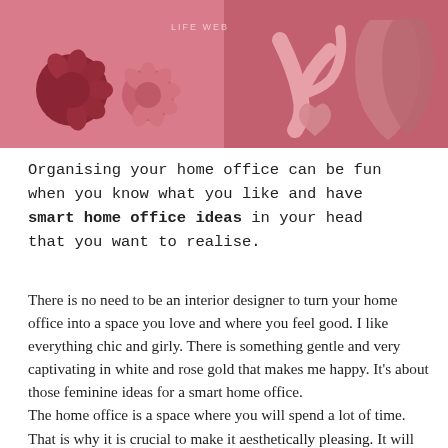[Figure (photo): Decorative banner image with pink/rose tones showing flower-shaped objects on the left side and rose-gold colored abstract shapes on the right side, split into two panels with a watermark text 'LIFE WEB' visible.]
Organising your home office can be fun when you know what you like and have smart home office ideas in your head that you want to realise.
There is no need to be an interior designer to turn your home office into a space you love and where you feel good. I like everything chic and girly. There is something gentle and very captivating in white and rose gold that makes me happy. It’s about those feminine ideas for a smart home office.
The home office is a space where you will spend a lot of time. That is why it is crucial to make it aesthetically pleasing. It will increase your creativity and make working